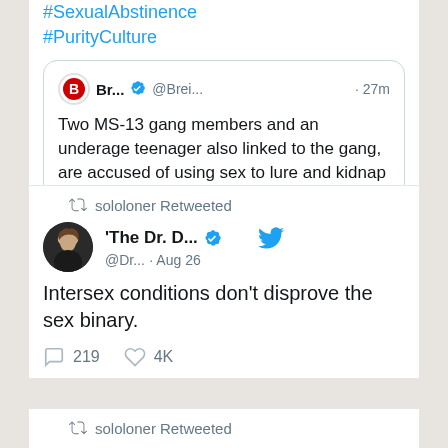[Figure (screenshot): Top portion of a Twitter feed showing hashtags #SexualAbstinence #PurityCulture and an embedded tweet from Breitbart (@Brei...) posted 27 minutes ago reading: 'Two MS-13 gang members and an underage teenager also linked to the gang, are accused of using sex to lure and kidnap a man at a ho...' with comment and heart action icons below.]
[Figure (screenshot): Twitter card: sololoner Retweeted. Account 'The Dr. D...' (@Dr...) verified, Aug 26, with bird icon. Tweet text: 'Intersex conditions don't disprove the sex binary.' Action row shows 219 comments and 4K likes.]
[Figure (screenshot): Partial Twitter card at the bottom showing 'sololoner Retweeted' with retweet icon, cut off.]